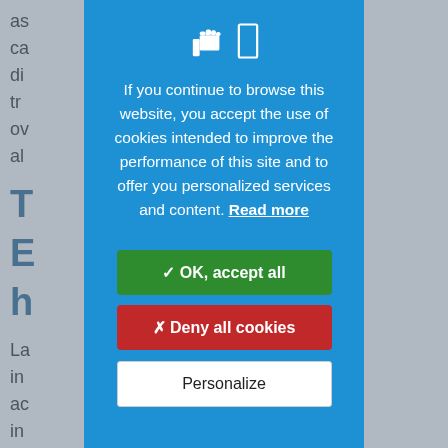[Figure (screenshot): Blurred background webpage content with grey text partially visible on the left and right edges]
If you continue to browse this website, you accept the use of cookies intended to improve the performance of this site and to offer you personalized services and content. Read more
[Figure (infographic): Cookie consent modal dialog with blue background, hand/cookie icons, accept/deny/personalize buttons]